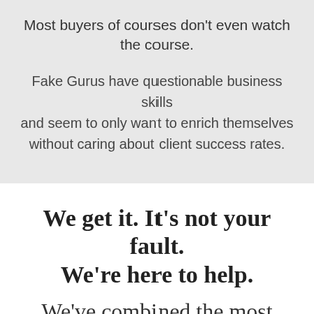Most buyers of courses don't even watch the course.
Fake Gurus have questionable business skills and seem to only want to enrich themselves without caring about client success rates.
We get it. It's not your fault. We're here to help.
We've combined the most powerful elements of peer mentorship, measurable